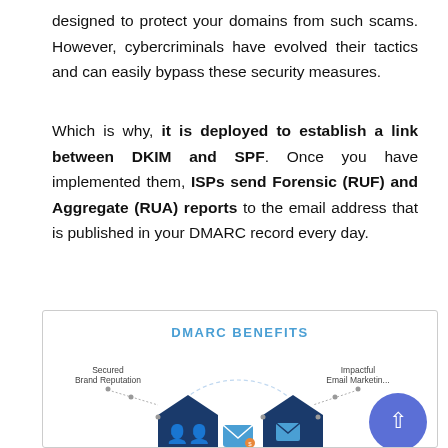designed to protect your domains from such scams. However, cybercriminals have evolved their tactics and can easily bypass these security measures.
Which is why, it is deployed to establish a link between DKIM and SPF. Once you have implemented them, ISPs send Forensic (RUF) and Aggregate (RUA) reports to the email address that is published in your DMARC record every day.
[Figure (infographic): DMARC BENEFITS infographic showing a circular diagram with 'Secured Brand Reputation' on the left and 'Impactful Email Marketing' on the right, with dark blue arrow/house shapes and icons including people and an email icon, plus a blue circle with an upward arrow in the bottom right.]